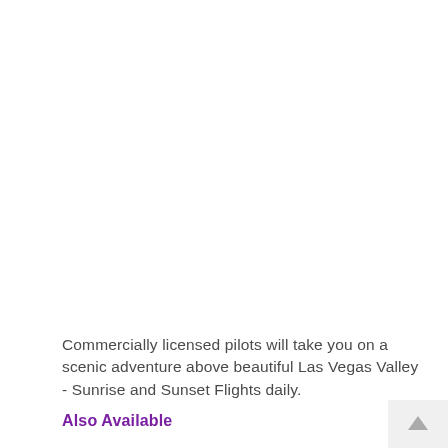Commercially licensed pilots will take you on a scenic adventure above beautiful Las Vegas Valley - Sunrise and Sunset Flights daily.
Also Available